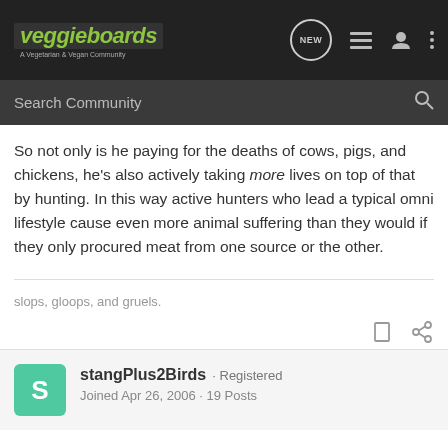veggieboards · A Vegetarian & Vegan Community — NEW
So not only is he paying for the deaths of cows, pigs, and chickens, he's also actively taking more lives on top of that by hunting. In this way active hunters who lead a typical omni lifestyle cause even more animal suffering than they would if they only procured meat from one source or the other.
slops, gloops, and gruels.
stangPlus2Birds · Registered
Joined Apr 26, 2006 · 19 Posts